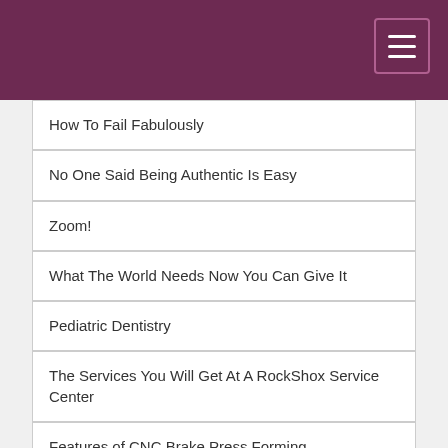How To Fail Fabulously
No One Said Being Authentic Is Easy
Zoom!
What The World Needs Now You Can Give It
Pediatric Dentistry
The Services You Will Get At A RockShox Service Center
Features of CNC Brake Press Forming
Excel Family Dental: Dental Emergencies